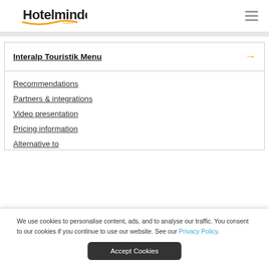[Figure (logo): Hotelminder.com logo with orange wave underline]
Interalp Touristik Menu
Recommendations
Partners & integrations
Video presentation
Pricing information
Alternative to
We use cookies to personalise content, ads, and to analyse our traffic. You consent to our cookies if you continue to use our website. See our Privacy Policy.